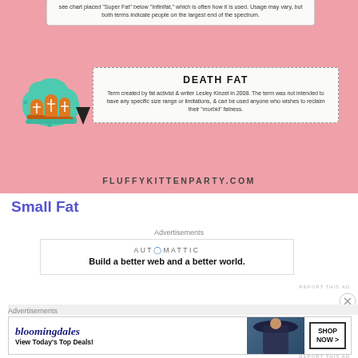[Figure (infographic): Pink infographic background with two white cards. Top card (partial) mentions 'Super Fat' below 'Infinifat'. Bottom card titled 'DEATH FAT' with definition by Lesley Kinzel 2008. Teal cloud with tombstone emoji on left. Arrow pointer. Site label fluffykittenparty.com at bottom.]
Small Fat
Advertisements
[Figure (infographic): Automattic advertisement: 'Build a better web and a better world.']
REPORT THIS AD
Advertisements
[Figure (infographic): Bloomingdales advertisement banner: 'View Today's Top Deals!' with SHOP NOW > button and woman in hat photo.]
REPORT THIS AD